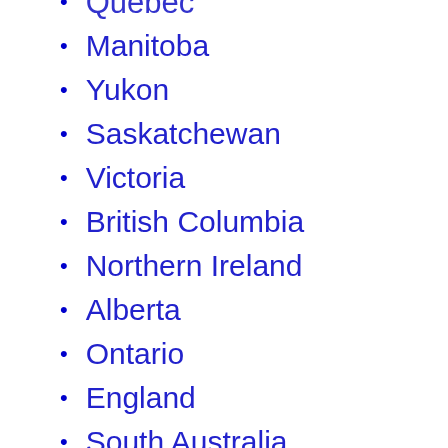Quebec
Manitoba
Yukon
Saskatchewan
Victoria
British Columbia
Northern Ireland
Alberta
Ontario
England
South Australia
Northwest Territories